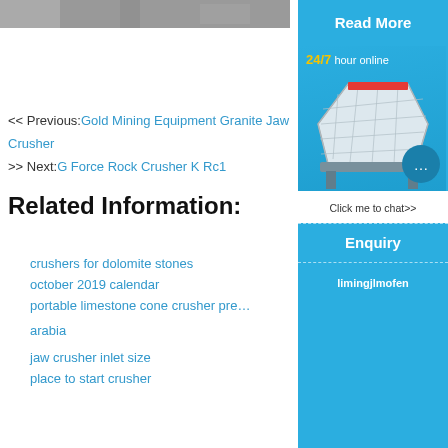[Figure (photo): Partial top strip showing machinery/industrial photo]
[Figure (screenshot): Read More button in cyan/blue]
<< Previous:Gold Mining Equipment Granite Jaw Crusher
>> Next:G Force Rock Crusher K Rc1
Related Information:
crushers for dolomite stones
october 2019 calendar
portable limestone cone crusher price in saudi arabia
jaw crusher inlet size
place to start crusher
[Figure (infographic): Sidebar with 24/7 hour online, machine photo, chat bubble, Click me to chat>>, Enquiry, limingjlmofen]
24/7 hour online
Click me to chat>>
Enquiry
limingjlmofen